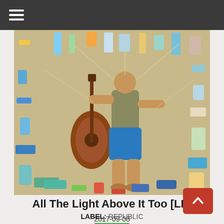≡ (hamburger menu)
[Figure (photo): Man in blue shorts and green t-shirt lying on sand surrounded by colorful beach debris and plastic objects, holding an acoustic guitar]
All The Light Above It Too [LP]
LABEL: REPUBLIC
Video
2017-09-08